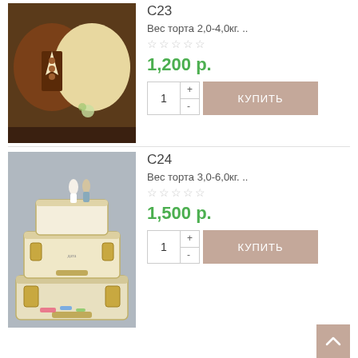С23
[Figure (photo): Two heart-shaped cakes side by side: one chocolate brown decorated as a tuxedo, one cream/beige]
Вес торта 2,0-4,0кг. ..
★★★★★ (empty stars rating)
1,200 р.
1  +  -  КУПИТЬ
С24
[Figure (photo): Multi-tier wedding cake designed as stacked suitcases with bride and groom figurines on top]
Вес торта 3,0-6,0кг. ..
★★★★★ (empty stars rating)
1,500 р.
1  +  -  КУПИТЬ
[Figure (photo): Partially visible dark cake photo at bottom of page]